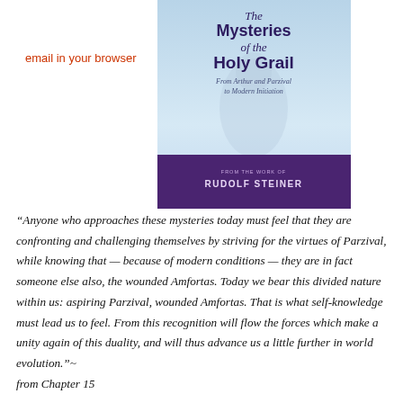email in your browser
[Figure (illustration): Book cover of 'The Mysteries of the Holy Grail: From Arthur and Parzival to Modern Initiation' from the work of Rudolf Steiner. Cover features a sky-blue background with a faint figure, title text in dark blue/purple, and a purple band at the bottom with the author credit.]
“Anyone who approaches these mysteries today must feel that they are confronting and challenging themselves by striving for the virtues of Parzival, while knowing that — because of modern conditions — they are in fact someone else also, the wounded Amfortas. Today we bear this divided nature within us: aspiring Parzival, wounded Amfortas. That is what self-knowledge must lead us to feel. From this recognition will flow the forces which make a unity again of this duality, and will thus advance us a little further in world evolution.”~ from Chapter 15